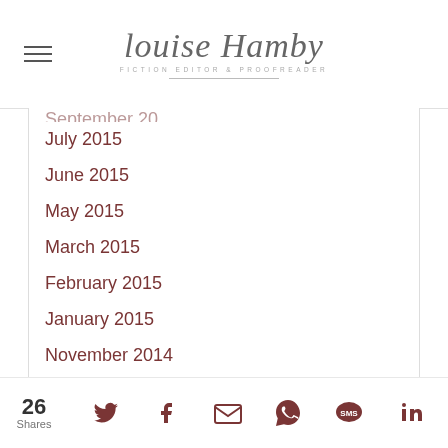Louise Hamby — Fiction Editor & Proofreader
July 2015
June 2015
May 2015
March 2015
February 2015
January 2015
November 2014
October 2014
September 2014
August 2014
July 2014
June 2014
March 2014
January 2014
26 Shares